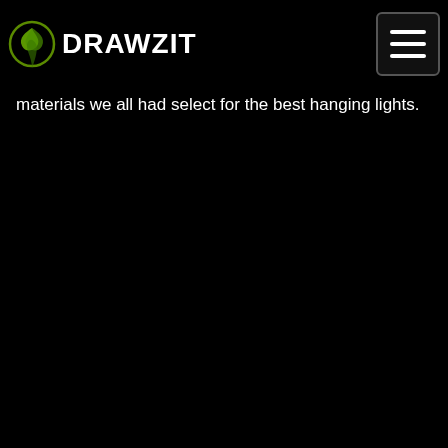DRAWZIT
materials we all had select for the best hanging lights.